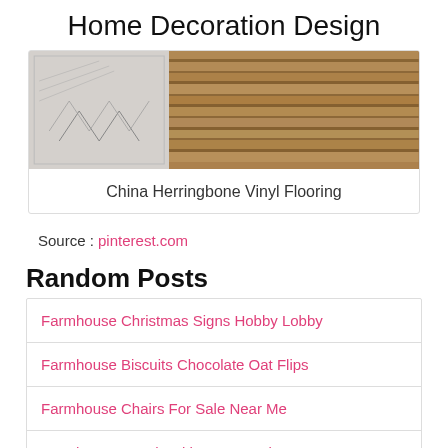Home Decoration Design
[Figure (photo): Photo showing herringbone vinyl flooring design: left portion is a sketch/blueprint on paper, right portion shows actual wood-grain vinyl flooring planks in brown tones.]
China Herringbone Vinyl Flooring
Source : pinterest.com
Random Posts
Farmhouse Christmas Signs Hobby Lobby
Farmhouse Biscuits Chocolate Oat Flips
Farmhouse Chairs For Sale Near Me
Farmhouse Bench With Storage Plans